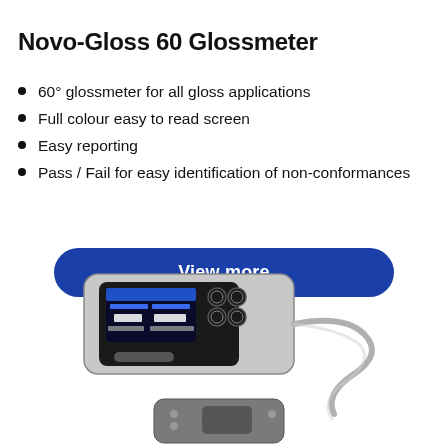Novo-Gloss 60 Glossmeter
60° glossmeter for all gloss applications
Full colour easy to read screen
Easy reporting
Pass / Fail for easy identification of non-conformances
[Figure (other): Blue rounded rectangle button with text 'View more' in white]
[Figure (photo): Photo of the Novo-Gloss 60 Glossmeter device — a handheld silver and black glossmeter instrument with a colour LCD screen showing measurement readings, four circular buttons on the right side, and a coiled grey cable attached, with a grey calibration base plate visible below]